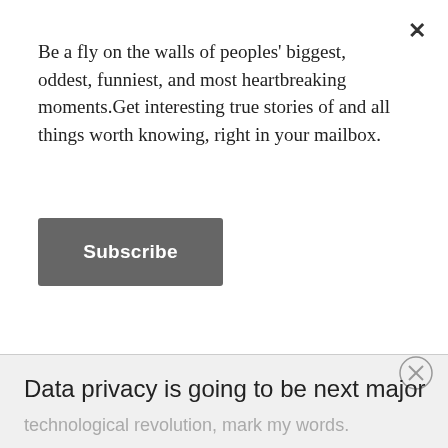Be a fly on the walls of peoples' biggest, oddest, funniest, and most heartbreaking moments.Get interesting true stories of and all things worth knowing, right in your mailbox.
Subscribe
Data privacy is going to be next major
technological revolution, mark my words.